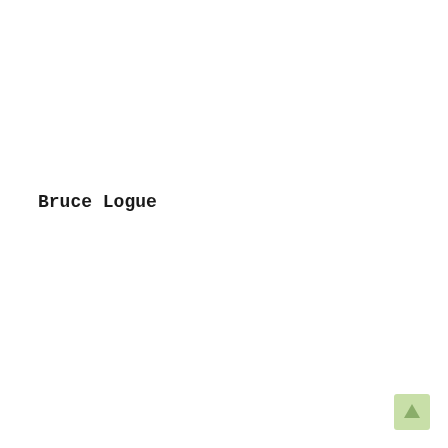Bruce Logue
[Figure (other): Small light green square button with an upward arrow icon in the bottom-right corner of the page]